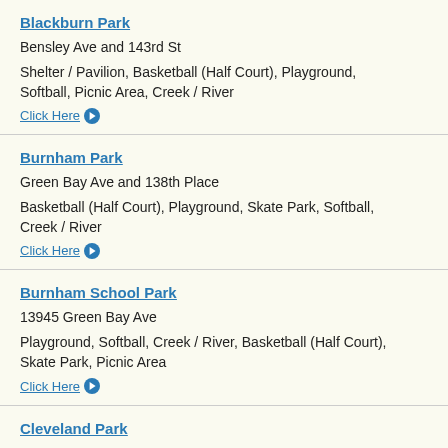Blackburn Park
Bensley Ave and 143rd St
Shelter / Pavilion, Basketball (Half Court), Playground, Softball, Picnic Area, Creek / River
Click Here
Burnham Park
Green Bay Ave and 138th Place
Basketball (Half Court), Playground, Skate Park, Softball, Creek / River
Click Here
Burnham School Park
13945 Green Bay Ave
Playground, Softball, Creek / River, Basketball (Half Court), Skate Park, Picnic Area
Click Here
Cleveland Park